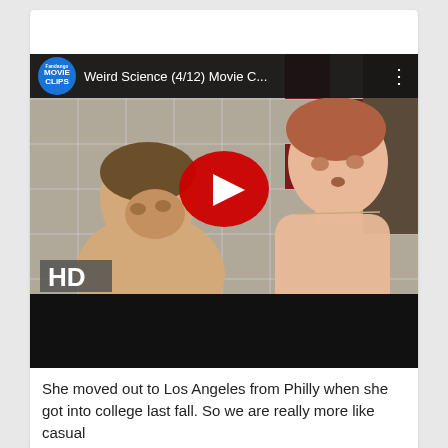[Figure (screenshot): YouTube video embed showing 'Weird Science (4/12) Movie C...' with Fandango Movie Clips logo. Thumbnail shows two young men in a tiled shower/locker room. A red YouTube play button is centered. 'HD' badge in lower left. Black bottom bar below thumbnail.]
She moved out to Los Angeles from Philly when she got into college last fall. So we are really more like casual